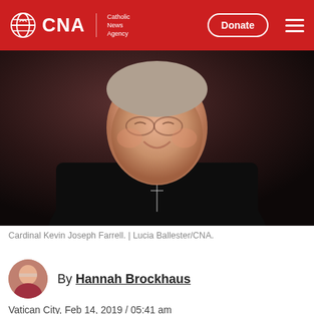CNA | Catholic News Agency
[Figure (photo): Cardinal Kevin Joseph Farrell wearing black clerical vestments with white collar tab and a cross necklace, smiling, photographed indoors with blurred background.]
Cardinal Kevin Joseph Farrell. | Lucia Ballester/CNA.
By Hannah Brockhaus
Vatican City, Feb 14, 2019 / 05:41 am